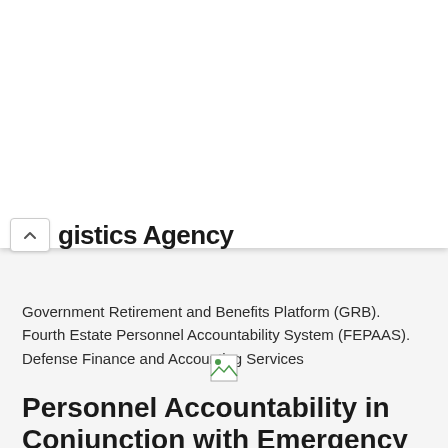gistics Agency
https://www.dla.mil/Careers/Tools.aspx
Government Retirement and Benefits Platform (GRB). Fourth Estate Personnel Accountability System (FEPAAS). Defense Finance and Accounting Services
[Figure (photo): Small broken/loading image icon]
Personnel Accountability in Conjunction with Emergency